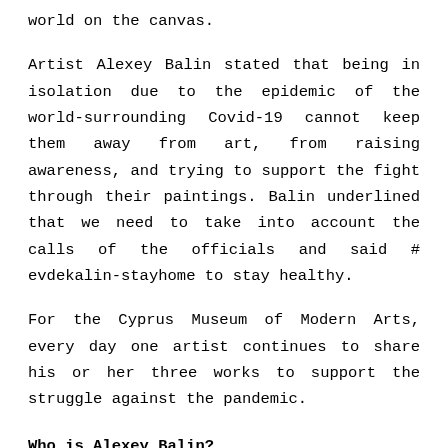world on the canvas.
Artist Alexey Balin stated that being in isolation due to the epidemic of the world-surrounding Covid-19 cannot keep them away from art, from raising awareness, and trying to support the fight through their paintings. Balin underlined that we need to take into account the calls of the officials and said # evdekalin-stayhome to stay healthy.
For the Cyprus Museum of Modern Arts, every day one artist continues to share his or her three works to support the struggle against the pandemic.
Who is Alexey Balin?
He was born in Pavlodar in 1971. In 1991, he graduated from Almata N.V. Gogol Art College in Almata. In 2003,